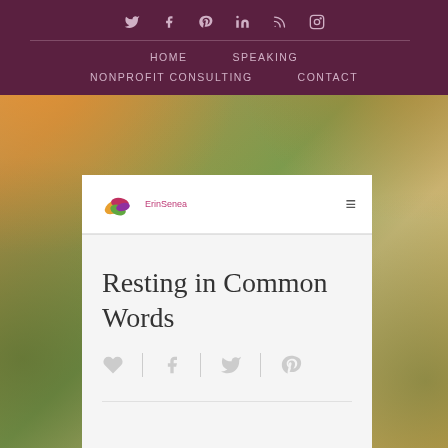Social icons: twitter, facebook, pinterest, linkedin, rss, instagram
HOME  SPEAKING  NONPROFIT CONSULTING  CONTACT
[Figure (logo): ErinSenea logo with colorful leaf/flower graphic and text 'ErinSenea']
Resting in Common Words
Share icons: heart, facebook, twitter, pinterest